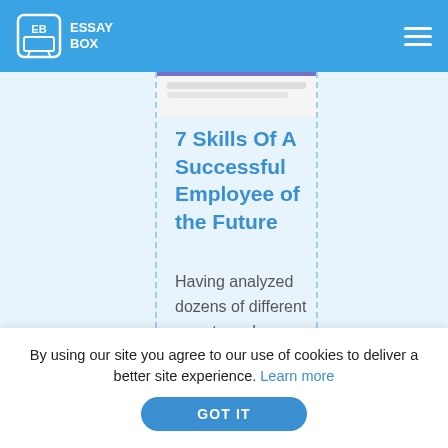ESSAY BOX
[Figure (screenshot): Partial card preview strip at top of article card area]
7 Skills Of A Successful Employee of the Future
Having analyzed dozens of different reports and publications on this topic, we were...
November 23, 2020
By using our site you agree to our use of cookies to deliver a better site experience. Learn more
GOT IT